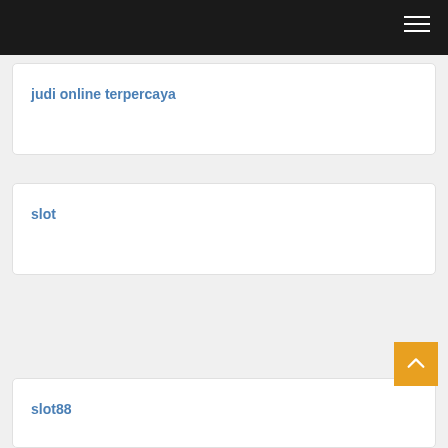judi online terpercaya
slot
slot88